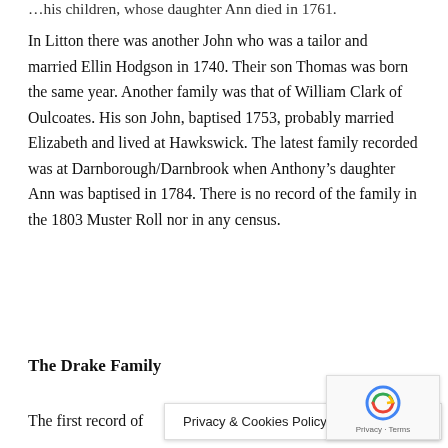…his children, whose daughter Ann died in 1761.
In Litton there was another John who was a tailor and married Ellin Hodgson in 1740. Their son Thomas was born the same year. Another family was that of William Clark of Oulcoates. His son John, baptised 1753, probably married Elizabeth and lived at Hawkswick. The latest family recorded was at Darnborough/Darnbrook when Anthony's daughter Ann was baptised in 1784. There is no record of the family in the 1803 Muster Roll nor in any census.
The Drake Family
The first record of…the